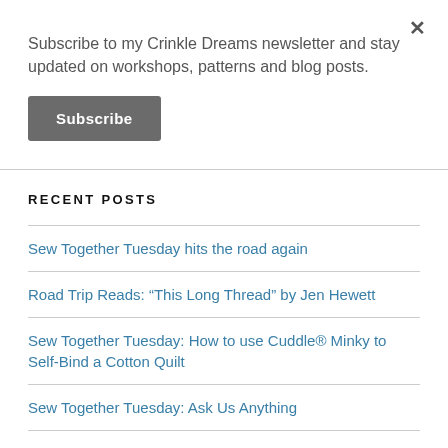Subscribe to my Crinkle Dreams newsletter and stay updated on workshops, patterns and blog posts.
Subscribe
RECENT POSTS
Sew Together Tuesday hits the road again
Road Trip Reads: “This Long Thread” by Jen Hewett
Sew Together Tuesday: How to use Cuddle® Minky to Self-Bind a Cotton Quilt
Sew Together Tuesday: Ask Us Anything
Quilts & the Museum of Appalachia